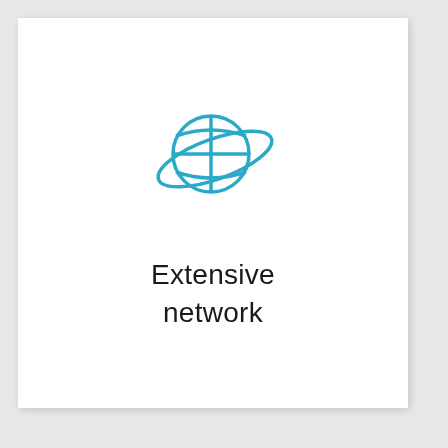[Figure (illustration): A globe icon with a teal/cyan ring or orbit band crossing diagonally around it, rendered as a line-art SVG icon.]
Extensive network